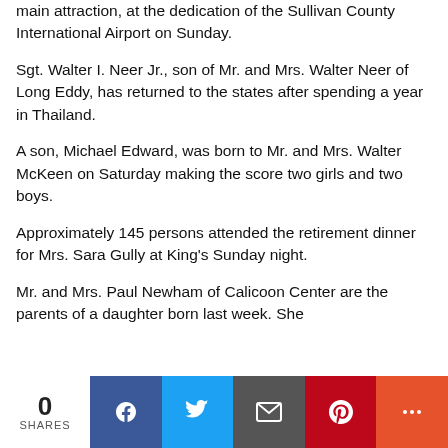main attraction, at the dedication of the Sullivan County International Airport on Sunday.
Sgt. Walter I. Neer Jr., son of Mr. and Mrs. Walter Neer of Long Eddy, has returned to the states after spending a year in Thailand.
A son, Michael Edward, was born to Mr. and Mrs. Walter McKeen on Saturday making the score two girls and two boys.
Approximately 145 persons attended the retirement dinner for Mrs. Sara Gully at King's Sunday night.
Mr. and Mrs. Paul Newham of Calicoon Center are the parents of a daughter born last week. She